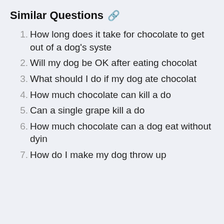Similar Questions 🔗
How long does it take for chocolate to get out of a dog's syste
Will my dog be OK after eating chocolat
What should I do if my dog ate chocolat
How much chocolate can kill a do
Can a single grape kill a do
How much chocolate can a dog eat without dyin
How do I make my dog throw up after eating chocolat